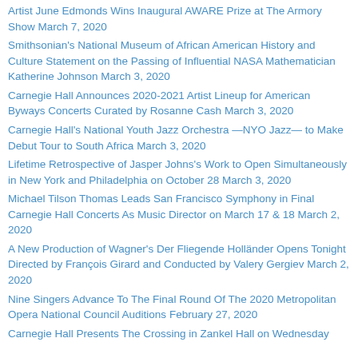Artist June Edmonds Wins Inaugural AWARE Prize at The Armory Show March 7, 2020
Smithsonian's National Museum of African American History and Culture Statement on the Passing of Influential NASA Mathematician Katherine Johnson March 3, 2020
Carnegie Hall Announces 2020-2021 Artist Lineup for American Byways Concerts Curated by Rosanne Cash March 3, 2020
Carnegie Hall's National Youth Jazz Orchestra —NYO Jazz— to Make Debut Tour to South Africa March 3, 2020
Lifetime Retrospective of Jasper Johns's Work to Open Simultaneously in New York and Philadelphia on October 28 March 3, 2020
Michael Tilson Thomas Leads San Francisco Symphony in Final Carnegie Hall Concerts As Music Director on March 17 & 18 March 2, 2020
A New Production of Wagner's Der Fliegende Holländer Opens Tonight Directed by François Girard and Conducted by Valery Gergiev March 2, 2020
Nine Singers Advance To The Final Round Of The 2020 Metropolitan Opera National Council Auditions February 27, 2020
Carnegie Hall Presents The Crossing in Zankel Hall on Wednesday